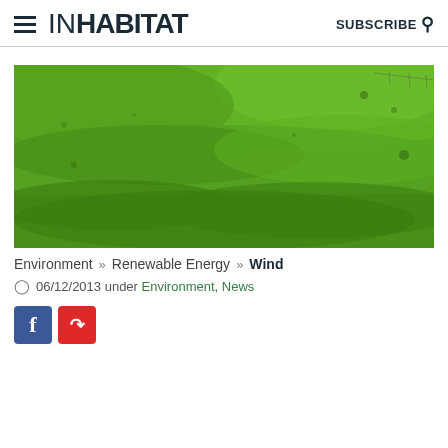INHABITAT | SUBSCRIBE
[Figure (photo): Wide landscape photo of a rolling green grassy field/meadow under natural light]
Environment >> Renewable Energy >> Wind
06/12/2013 under Environment, News
[Figure (screenshot): Facebook and Flipboard social share buttons, and a loading spinner box with 'Loading...' text]